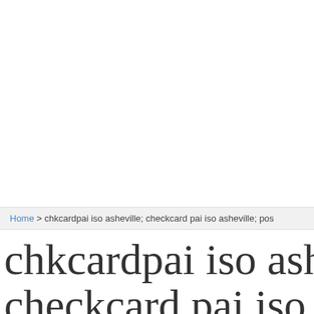Home > chkcardpai iso asheville; checkcard pai iso asheville; pos
chkcardpai iso asheville; checkcard pai iso asheville;